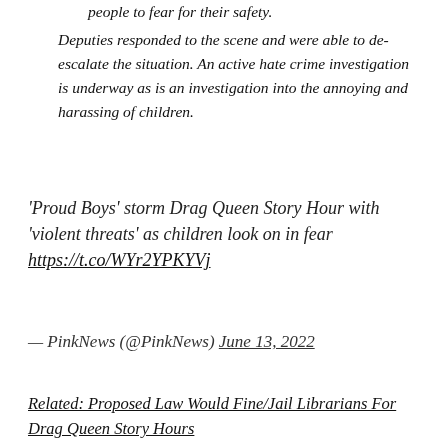Deputies responded to the scene and were able to de-escalate the situation. An active hate crime investigation is underway as is an investigation into the annoying and harassing of children.
'Proud Boys' storm Drag Queen Story Hour with 'violent threats' as children look on in fear https://t.co/WYr2YPKYVj
— PinkNews (@PinkNews) June 13, 2022
Related: Proposed Law Would Fine/Jail Librarians For Drag Queen Story Hours